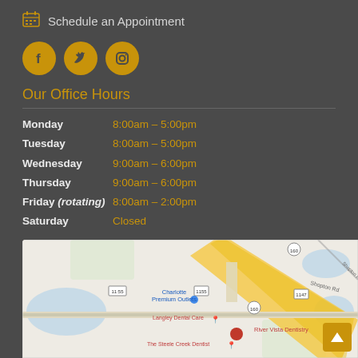Schedule an Appointment
[Figure (illustration): Social media icons: Facebook, Twitter, Instagram in gold circles]
Our Office Hours
Monday   8:00am – 5:00pm
Tuesday   8:00am – 5:00pm
Wednesday   9:00am – 6:00pm
Thursday   9:00am – 6:00pm
Friday (rotating)   8:00am – 2:00pm
Saturday   Closed
[Figure (map): Google map showing River Vista Dentistry location near Charlotte Premium Outlets, Langley Dental Care, and The Steele Creek Dentist]